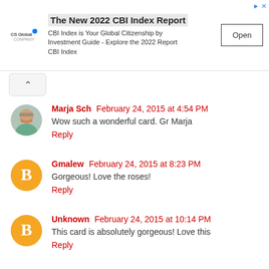[Figure (screenshot): Advertisement banner for CS Global 2022 CBI Index Report with Open button]
Marja Sch February 24, 2015 at 4:54 PM
Wow such a wonderful card. Gr Marja
Reply
Gmalew February 24, 2015 at 8:23 PM
Gorgeous! Love the roses!
Reply
Unknown February 24, 2015 at 10:14 PM
This card is absolutely gorgeous! Love this
Reply